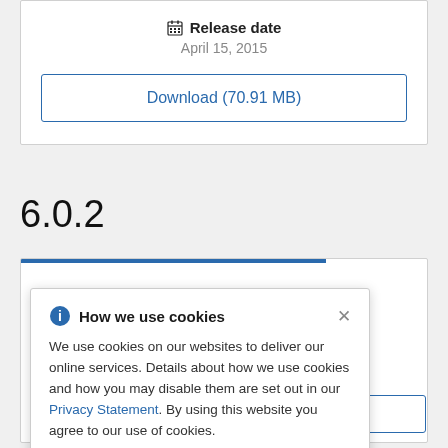Release date
April 15, 2015
Download (70.91 MB)
6.0.2
How we use cookies
We use cookies on our websites to deliver our online services. Details about how we use cookies and how you may disable them are set out in our Privacy Statement. By using this website you agree to our use of cookies.